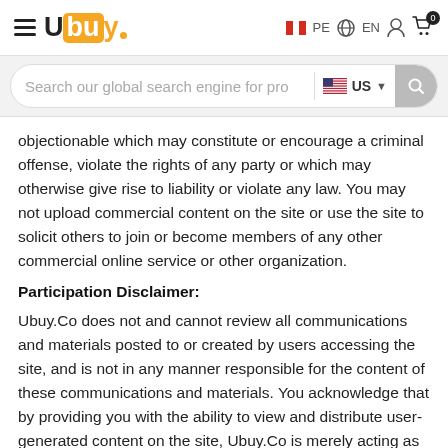Ubuy PE EN [cart: 0]
[Figure (screenshot): Search bar with placeholder 'Search our global search engine for pro', US flag country selector, and search button]
objectionable which may constitute or encourage a criminal offense, violate the rights of any party or which may otherwise give rise to liability or violate any law. You may not upload commercial content on the site or use the site to solicit others to join or become members of any other commercial online service or other organization.
Participation Disclaimer:
Ubuy.Co does not and cannot review all communications and materials posted to or created by users accessing the site, and is not in any manner responsible for the content of these communications and materials. You acknowledge that by providing you with the ability to view and distribute user-generated content on the site, Ubuy.Co is merely acting as a passive conduit for such distribution and is not undertaking any obligation or liability relating to any contents or activities on the site. However, Ubuy.Co reserves the right to block or remove